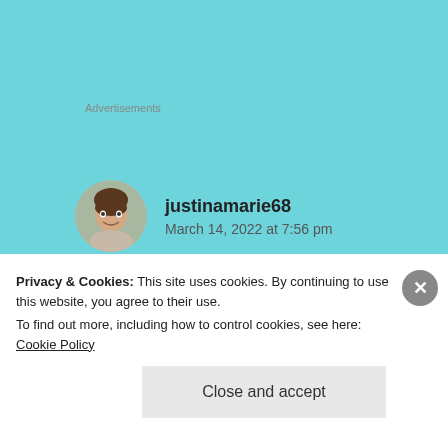Advertisements
justinamarie68
March 14, 2022 at 7:56 pm
I/we felt very drawn to this post and could resonate deeply with almost everything you've written here.
Privacy & Cookies: This site uses cookies. By continuing to use this website, you agree to their use.
To find out more, including how to control cookies, see here: Cookie Policy
Close and accept